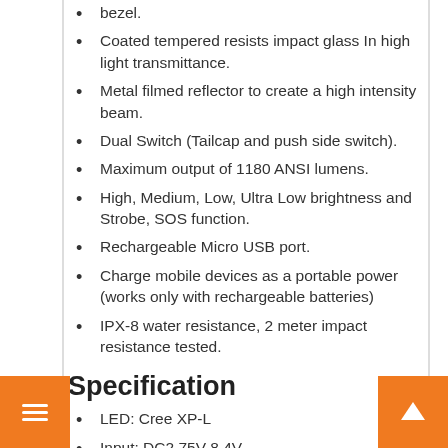bezel.
Coated tempered resists impact glass In high light transmittance.
Metal filmed reflector to create a high intensity beam.
Dual Switch (Tailcap and push side switch).
Maximum output of 1180 ANSI lumens.
High, Medium, Low, Ultra Low brightness and Strobe, SOS function.
Rechargeable Micro USB port.
Charge mobile devices as a portable power (works only with rechargeable batteries)
IPX-8 water resistance, 2 meter impact resistance tested.
Specification
LED: Cree XP-L
Input: DC2.75V-8.4V
Output: max 1180 lumen
Reflector: precise metal filmed